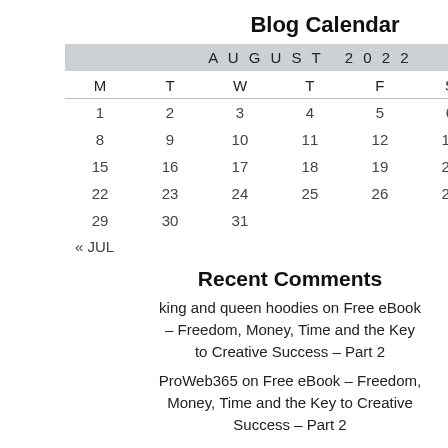Blog Calendar
| M | T | W | T | F | S | S |
| --- | --- | --- | --- | --- | --- | --- |
| 1 | 2 | 3 | 4 | 5 | 6 | 7 |
| 8 | 9 | 10 | 11 | 12 | 13 | 14 |
| 15 | 16 | 17 | 18 | 19 | 20 | 21 |
| 22 | 23 | 24 | 25 | 26 | 27 | 28 |
| 29 | 30 | 31 |  |  |  |  |
Recent Comments
king and queen hoodies on Free eBook – Freedom, Money, Time and the Key to Creative Success – Part 2
ProWeb365 on Free eBook – Freedom, Money, Time and the Key to Creative Success – Part 2
Easy Set Pools on Thought Readership #20: The GOODREADS Challenge
matching shirts for couples on Role of ...Key Performance Indicators...
I can get more educated ... across two choices; o... which you make a cho... perhaps your entire li...
The choice is made in how... "I=Investment" IS NOT "C... something else RIGHT NO... something bigger (than wh...
Most people look at the RO... you are talking to your cus... forth that the price tag ass... they are making into a futu... point.
If they still insist on lookin... considered the Cost of d...